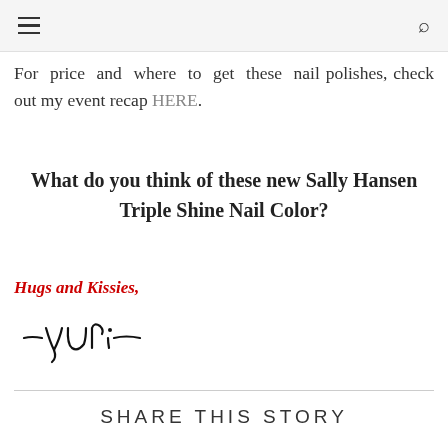≡   🔍
For price and where to get these nail polishes, check out my event recap HERE.
What do you think of these new Sally Hansen Triple Shine Nail Color?
Hugs and Kissies,
[Figure (illustration): Handwritten signature reading '—yuri—' in cursive script]
SHARE THIS STORY